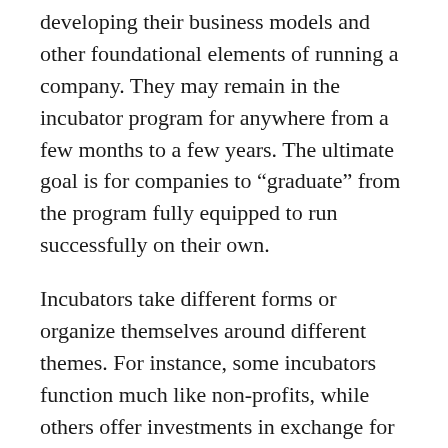developing their business models and other foundational elements of running a company. They may remain in the incubator program for anywhere from a few months to a few years. The ultimate goal is for companies to “graduate” from the program fully equipped to run successfully on their own.
Incubators take different forms or organize themselves around different themes. For instance, some incubators function much like non-profits, while others offer investments in exchange for partial equity in participating startups. Some incubators cater generally to any startups in their region, while others focus on startups in a particular industry, such as software or technology.
Meanwhile, companies that have moved beyond the earliest stages of development can seek support from a startup accelerator. Like startup incubators, these programs typically offer mentorship, financial